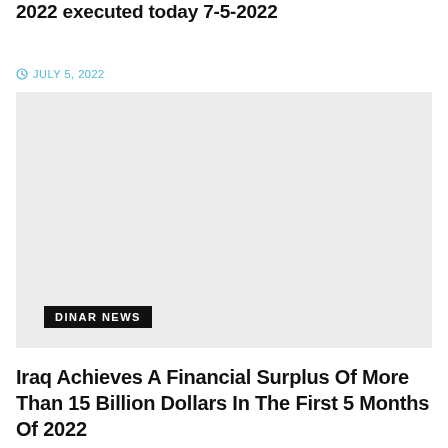Iraq Dinar, US Dollar Auction Results for Wednesday 7-6-2022 executed today 7-5-2022
JULY 5, 2022
[Figure (photo): Gray placeholder image with a DINAR NEWS badge overlay in the lower left corner]
Iraq Achieves A Financial Surplus Of More Than 15 Billion Dollars In The First 5 Months Of 2022